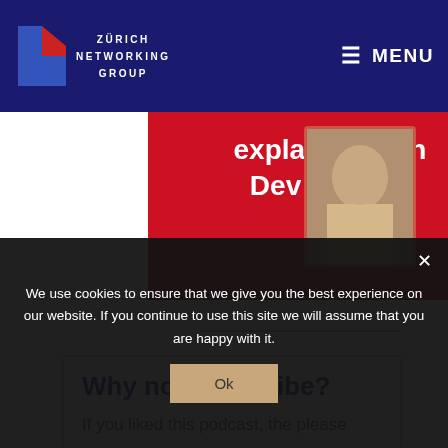ZÜRICH NETWORKING GROUP — MENU
[Figure (screenshot): Red banner with text 'explained with Dev Rakshit' and a photo of a man]
Why not subscribe?
If you liked this podcast, the please
We use cookies to ensure that we give you the best experience on our website. If you continue to use this site we will assume that you are happy with it.